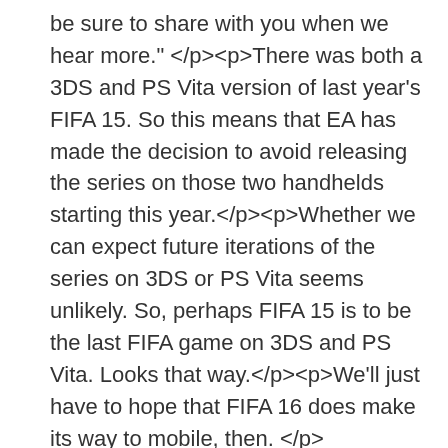be sure to share with you when we hear more." </p><p>There was both a 3DS and PS Vita version of last year's FIFA 15. So this means that EA has made the decision to avoid releasing the series on those two handhelds starting this year.</p><p>Whether we can expect future iterations of the series on 3DS or PS Vita seems unlikely. So, perhaps FIFA 15 is to be the last FIFA game on 3DS and PS Vita. Looks that way.</p><p>We'll just have to hope that FIFA 16 does make its way to mobile, then. </p>
🔷
🔷!
Shopaholic Go - 3D Shopping Lover Rush Run